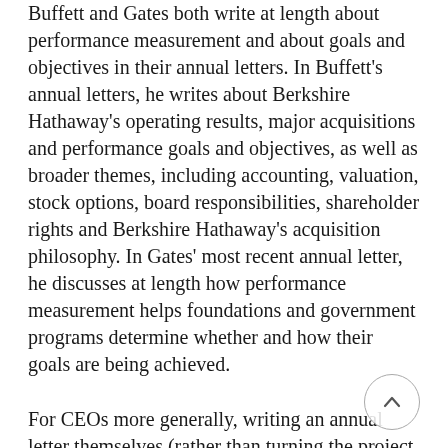Buffett and Gates both write at length about performance measurement and about goals and objectives in their annual letters. In Buffett's annual letters, he writes about Berkshire Hathaway's operating results, major acquisitions and performance goals and objectives, as well as broader themes, including accounting, valuation, stock options, board responsibilities, shareholder rights and Berkshire Hathaway's acquisition philosophy. In Gates' most recent annual letter, he discusses at length how performance measurement helps foundations and government programs determine whether and how their goals are being achieved.
For CEOs more generally, writing an annual letter themselves (rather than turning the project over to the public relations or investor relations department) is important for variety of reasons. Writing an annual letter personally allows a CEO to